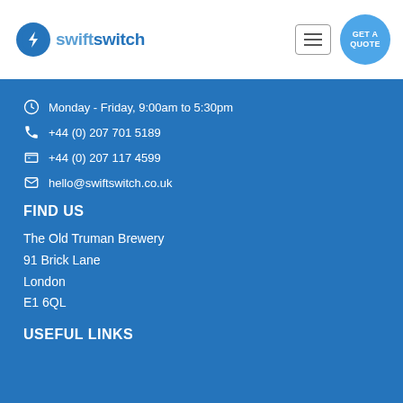[Figure (logo): SwiftSwitch logo with blue lightning bolt circle icon and text]
Monday - Friday, 9:00am to 5:30pm
+44 (0) 207 701 5189
+44 (0) 207 117 4599
hello@swiftswitch.co.uk
FIND US
The Old Truman Brewery
91 Brick Lane
London
E1 6QL
USEFUL LINKS